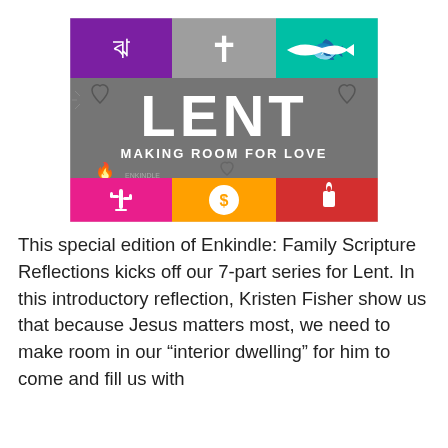[Figure (illustration): Lent Making Room for Love graphic. A rectangular image divided into colored grid tiles. Top row: purple tile with a cursive/symbol icon, gray tile with a white cross icon, green tile with a white fish icon. Middle section: large gray banner with 'LENT' in big white block letters and 'MAKING ROOM FOR LOVE' below, with decorative heart and spark motifs. Bottom row: magenta/pink tile with a white cactus icon, yellow/orange tile with a white dollar-sign circle icon, red tile with a white candle icon.]
This special edition of Enkindle: Family Scripture Reflections kicks off our 7-part series for Lent. In this introductory reflection, Kristen Fisher show us that because Jesus matters most, we need to make room in our “interior dwelling” for him to come and fill us with